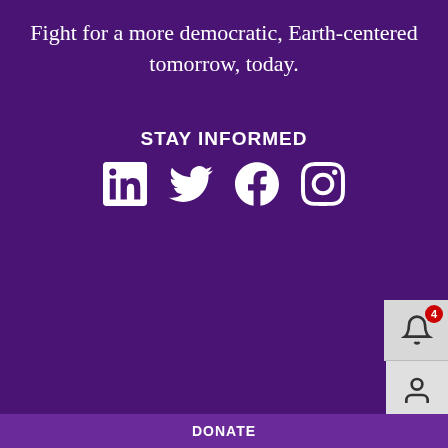Fight for a more democratic, Earth-centered tomorrow, today.
STAY INFORMED
[Figure (other): Social media icons: LinkedIn, Twitter, Facebook, Instagram]
JOIN OUR EMAIL LIST
© 2022
PRIVACY POLICY
WHO WE ARE
NEWS
[Figure (logo): CELDF logo in white bold text]
DONATE